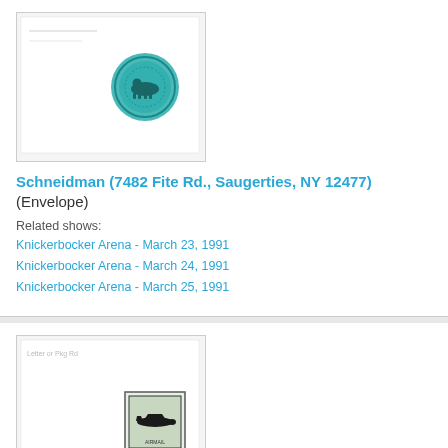[Figure (photo): White envelope with a teal circular stamp/seal featuring an animal (bear) design, on a white background]
Schneidman (7482 Fite Rd., Saugerties, NY 12477) (Envelope)
Related shows:
Knickerbocker Arena - March 23, 1991
Knickerbocker Arena - March 24, 1991
Knickerbocker Arena - March 25, 1991
[Figure (photo): White envelope with a postage stamp featuring an inverted airplane design (Jenny stamp), on a white background]
C. Morello (Envelope)
Related show:
Knickerbocker Arena - March 23, 1991